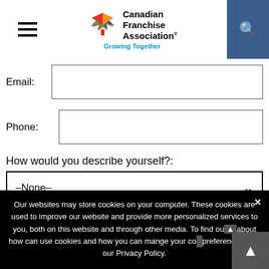[Figure (logo): Canadian Franchise Association logo with maple leaf icon and 'Growing Together' tagline]
Email:
Phone:
How would you describe yourself?:
–None–
Website:
Additional information:
Our websites may store cookies on your computer. These cookies are used to improve our website and provide more personalized services to you, both on this website and through other media. To find out more about how can use cookies and how you can mange your cookie preferences, see our Privacy Policy.